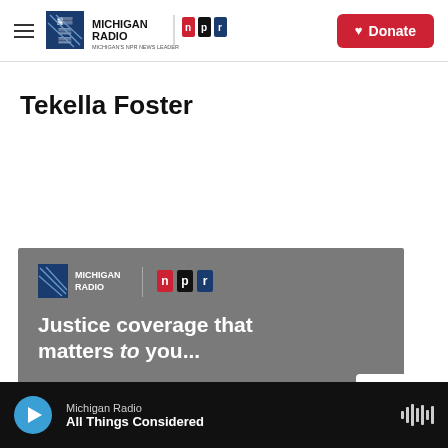Michigan Radio | NPR | Donate
Tekella Foster
[Figure (infographic): Michigan Radio NPR promo banner with text 'Justice coverage that matters to you...' on grey background]
Michigan Radio — All Things Considered (audio player bar)